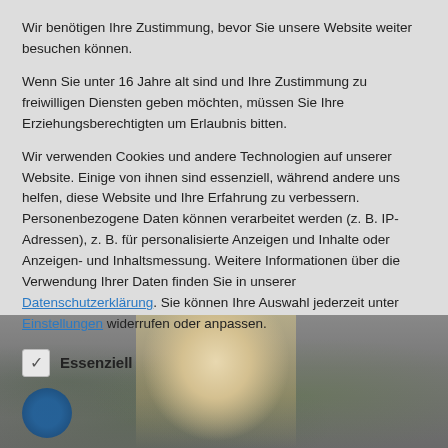Wir benötigen Ihre Zustimmung, bevor Sie unsere Website weiter besuchen können.
Wenn Sie unter 16 Jahre alt sind und Ihre Zustimmung zu freiwilligen Diensten geben möchten, müssen Sie Ihre Erziehungsberechtigten um Erlaubnis bitten.
Wir verwenden Cookies und andere Technologien auf unserer Website. Einige von ihnen sind essenziell, während andere uns helfen, diese Website und Ihre Erfahrung zu verbessern. Personenbezogene Daten können verarbeitet werden (z. B. IP-Adressen), z. B. für personalisierte Anzeigen und Inhalte oder Anzeigen- und Inhaltsmessung. Weitere Informationen über die Verwendung Ihrer Daten finden Sie in unserer Datenschutzerklärung. Sie können Ihre Auswahl jederzeit unter Einstellungen widerrufen oder anpassen.
✓ Essenziell
[Figure (photo): Photo of a smiling blonde woman in a white top, with green foliage and a blue circular decoration visible in the background. The image appears dark/dimmed.]